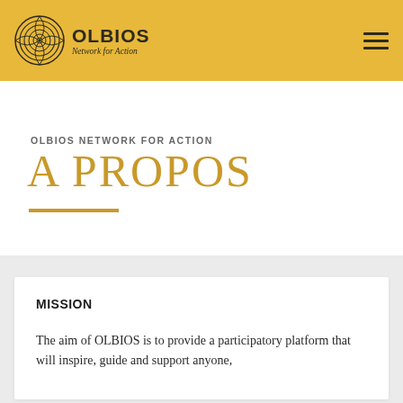OLBIOS Network for Action
OLBIOS NETWORK FOR ACTION
A PROPOS
MISSION
The aim of OLBIOS is to provide a participatory platform that will inspire, guide and support anyone,